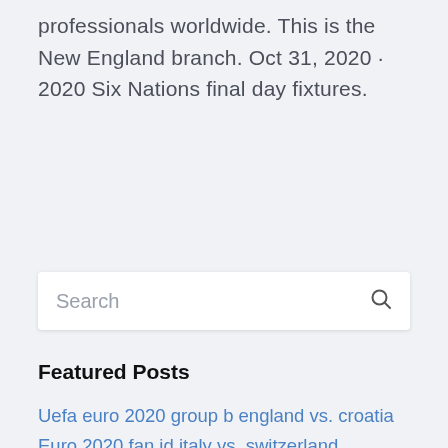only organization dedicated to serving working professionals worldwide. This is the New England branch. Oct 31, 2020 · 2020 Six Nations final day fixtures.
Search
Featured Posts
Uefa euro 2020 group b england vs. croatia
Euro 2020 fan id italy vs. switzerland